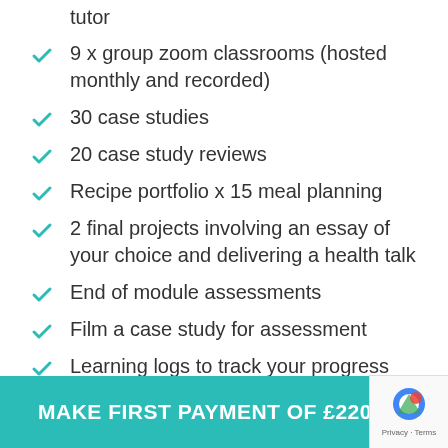tutor
9 x group zoom classrooms (hosted monthly and recorded)
30 case studies
20 case study reviews
Recipe portfolio x 15 meal planning
2 final projects involving an essay of your choice and delivering a health talk
End of module assessments
Film a case study for assessment
Learning logs to track your progress
MAKE FIRST PAYMENT OF £220